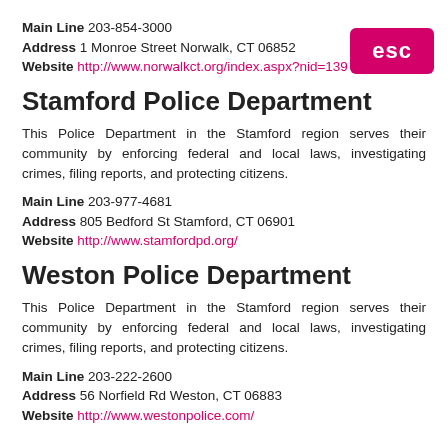Main Line 203-854-3000
Address 1 Monroe Street Norwalk, CT 06852
Website http://www.norwalkct.org/index.aspx?nid=139
[Figure (logo): Pink/magenta rounded rectangle badge with white bold text 'esc']
Stamford Police Department
This Police Department in the Stamford region serves their community by enforcing federal and local laws, investigating crimes, filing reports, and protecting citizens.
Main Line 203-977-4681
Address 805 Bedford St Stamford, CT 06901
Website http://www.stamfordpd.org/
Weston Police Department
This Police Department in the Stamford region serves their community by enforcing federal and local laws, investigating crimes, filing reports, and protecting citizens.
Main Line 203-222-2600
Address 56 Norfield Rd Weston, CT 06883
Website http://www.westonpolice.com/